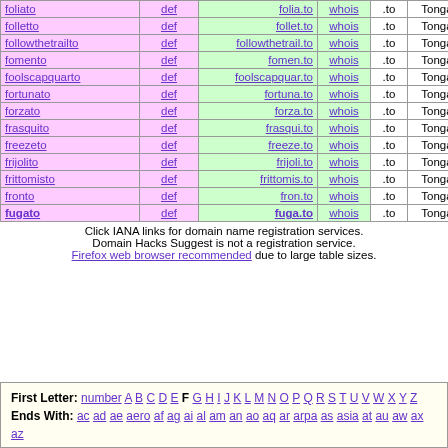| word | def | domain | whois | tld | country | iana |
| --- | --- | --- | --- | --- | --- | --- |
| foliato | def | folia.to | whois | .to | Tonga | iana |
| folletto | def | follet.to | whois | .to | Tonga | iana |
| followthetrailto | def | followthetrail.to | whois | .to | Tonga | iana |
| fomento | def | fomen.to | whois | .to | Tonga | iana |
| foolscapquarto | def | foolscapquar.to | whois | .to | Tonga | iana |
| fortunato | def | fortuna.to | whois | .to | Tonga | iana |
| forzato | def | forza.to | whois | .to | Tonga | iana |
| frasquito | def | frasqui.to | whois | .to | Tonga | iana |
| freezeto | def | freeze.to | whois | .to | Tonga | iana |
| frijolito | def | frijoli.to | whois | .to | Tonga | iana |
| frittomisto | def | frittomis.to | whois | .to | Tonga | iana |
| fronto | def | fron.to | whois | .to | Tonga | iana |
| fugato | def | fuga.to | whois | .to | Tonga | iana |
Click IANA links for domain name registration services. Domain Hacks Suggest is not a registration service. Firefox web browser recommended due to large table sizes.
First Letter: number A B C D E F G H I J K L M N O P Q R S T U V W X Y Z
Ends With: ac ad ae aero af ag ai al am an ao aq ar arpa as asia at au aw ax az